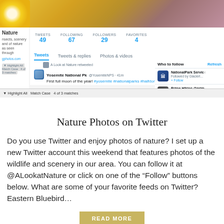[Figure (screenshot): Screenshot of a Twitter page showing ALookatNature account with stats (Tweets 49, Following 67, Followers 29, Favorites 4), navigation tabs (Tweets, Tweets & replies, Photos & videos), a retweeted post from Yosemite National Pk about first full moon of the year with hashtags, and a 'Who to follow' sidebar with NationalPark Service and Prime Hiking accounts.]
Nature Photos on Twitter
Do you use Twitter and enjoy photos of nature? I set up a new Twitter account this weekend that features photos of the wildlife and scenery in our area. You can follow it at @ALookatNature or click on one of the “Follow” buttons below. What are some of your favorite feeds on Twitter? Eastern Bluebird…
READ MORE